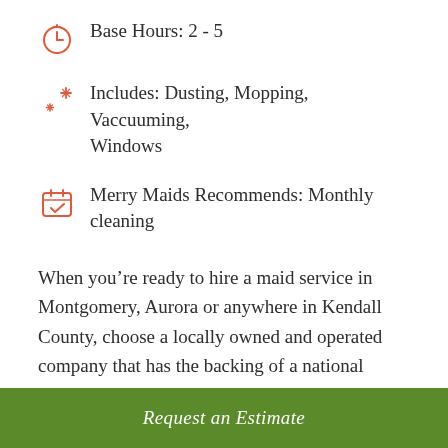Base Hours: 2 - 5
Includes: Dusting, Mopping, Vaccuuming, Windows
Merry Maids Recommends: Monthly cleaning
When you’re ready to hire a maid service in Montgomery, Aurora or anywhere in Kendall County, choose a locally owned and operated company that has the backing of a national
Request an Estimate